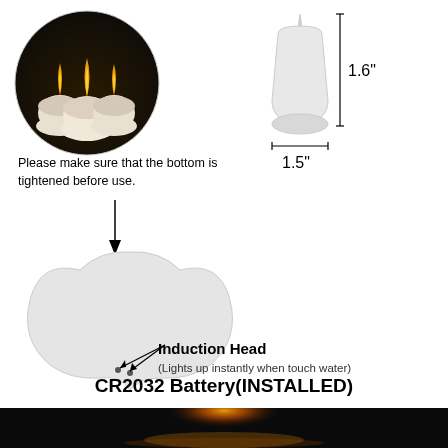[Figure (photo): Circular photo of three glowing LED tealight candles with warm yellow flame effect on dark background]
[Figure (schematic): White flameless LED tealight candle shown upright with dimension lines: 1.6 inches height and 1.5 inches width]
Please make sure that the bottom is tightened before use.
[Figure (schematic): Underside/bottom view of the flameless LED tealight candle showing the induction head sensor points with arrows pointing to them, labeled 'Induction Head (Lights up instantly when touch water)']
Induction Head
(Lights up instantly when touch water)
CR2032 Battery(INSTALLED)
[Figure (photo): Dark photo showing a glowing LED tealight candle floating on water with reflection]